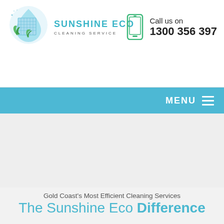[Figure (logo): Sunshine Eco Cleaning Service logo: circular emblem with a building and green leaves, with teal text reading SUNSHINE ECO and CLEANING SERVICE]
Call us on
1300 356 397
MENU
Gold Coast's Most Efficient Cleaning Services
The Sunshine Eco Difference